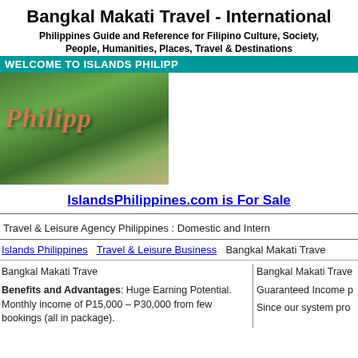Bangkal Makati Travel - International
Philippines Guide and Reference for Filipino Culture, Society, People, Humanities, Places, Travel & Destinations
WELCOME TO ISLANDS PHILIPP
[Figure (photo): Photo of Philippine landscape with green hills and 'Philipp' text overlay in decorative script]
IslandsPhilippines.com is For Sale
Travel & Leisure Agency Philippines : Domestic and Intern
Islands Philippines   Travel & Leisure Business   Bangkal Makati Trave
Bangkal Makati Trave
Benefits and Advantages: Huge Earning Potential. Monthly income of P15,000 – P30,000 from few bookings (all in package).
Guaranteed Income p
Since our system pro